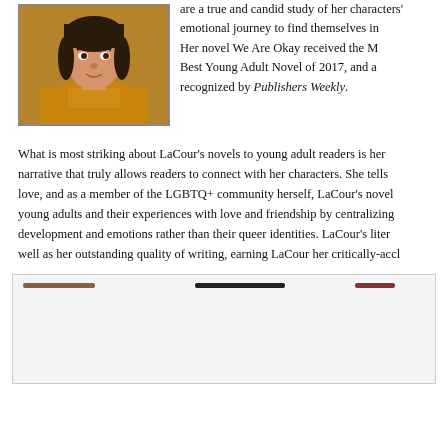[Figure (photo): Portrait photo of Nina LaCour in a golden/mustard colored top]
are a true and candid study of her characters' emotional journey to find themselves in the world. Her novel We Are Okay received the M Best Young Adult Novel of 2017, and a recognized by Publishers Weekly.
What is most striking about LaCour's novels to young adult readers is her narrative that truly allows readers to connect with her characters. She tells love, and as a member of the LGBTQ+ community herself, LaCour's novel young adults and their experiences with love and friendship by centralizing development and emotions rather than their queer identities. LaCour's liter well as her outstanding quality of writing, earning LaCour her critically-accl
[Figure (other): Bottom section with horizontal bars/lines on light gray background]